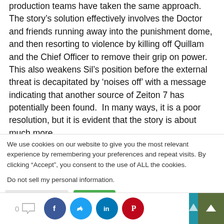production teams have taken the same approach. The story's solution effectively involves the Doctor and friends running away into the punishment dome, and then resorting to violence by killing off Quillam and the Chief Officer to remove their grip on power. This also weakens Sil's position before the external threat is decapitated by 'noises off' with a message indicating that another source of Zeiton 7 has potentially been found.  In many ways, it is a poor resolution, but it is evident that the story is about much more.
We use cookies on our website to give you the most relevant experience by remembering your preferences and repeat visits. By clicking "Accept", you consent to the use of ALL the cookies.
Do not sell my personal information.